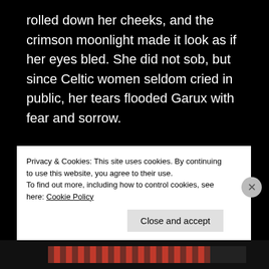rolled down her cheeks, and the crimson moonlight made it look as if her eyes bled. She did not sob, but since Celtic women seldom cried in public, her tears flooded Garux with fear and sorrow.
The feeling of guilt also galloped into his mind. What if Rawena loved him so much she had harmed herself over him and Arvasia? Although the whole tribe knew he loved Arvasia, Rawena
Privacy & Cookies: This site uses cookies. By continuing to use this website, you agree to their use.
To find out more, including how to control cookies, see here: Cookie Policy